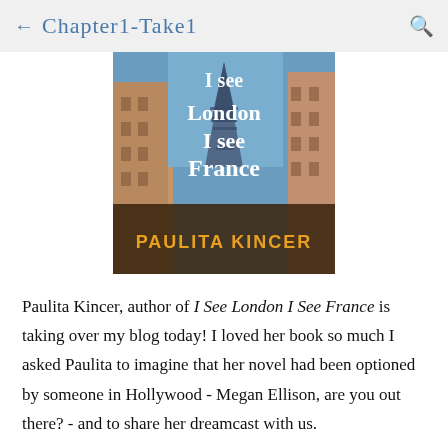← Chapter1-Take1
[Figure (illustration): Book cover for 'I See London I See France' by Paulita Kincer. Background shows the Eiffel Tower and Parisian buildings. Title text in large white letters, author name in orange at the bottom.]
Paulita Kincer, author of I See London I See France is taking over my blog today! I loved her book so much I asked Paulita to imagine that her novel had been optioned by someone in Hollywood - Megan Ellison, are you out there? - and to share her dreamcast with us.